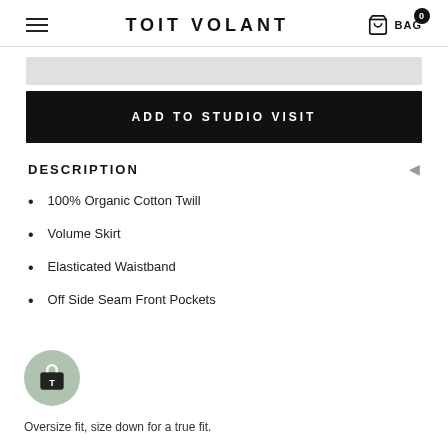TOIT VOLANT
[Figure (illustration): Input/size selector bar (gray rectangle)]
[Figure (illustration): Black 'ADD TO STUDIO VISIT' button]
DESCRIPTION
100% Organic Cotton Twill
Volume Skirt
Elasticated Waistband
Off Side Seam Front Pockets
[Figure (logo): Floating shopping bag icon button with gray-green circular background]
Oversize fit, size down for a true fit.